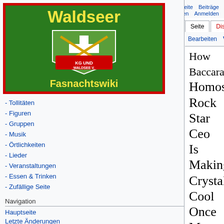Nicht angemeldet  Diskussionsseite  Beiträge  Benutzerkonto erstellen  Anmelden
[Figure (logo): Waldseer Fasnachtswiki logo — green shield with crossed instruments on red background, yellow text]
- Tollitäten
- Figuren
- Gruppen
- Musik
- Örtlichkeiten
- Lieder
- Veranstaltungen
- Essen & Trinken
- Zufällige Seite
Navigation
Hauptseite
Letzte Änderungen
Zufällige Seite
How Baccarat's Homosexual Rock Star Ceo Is Making Crystal Cool Once More: Unterschied zwischen den Versionen
| Version vom 16. Februar 2022, 20:01 Uhr | Version vom 16. Februar 2022, 20:52 Uhr |
| --- | --- |